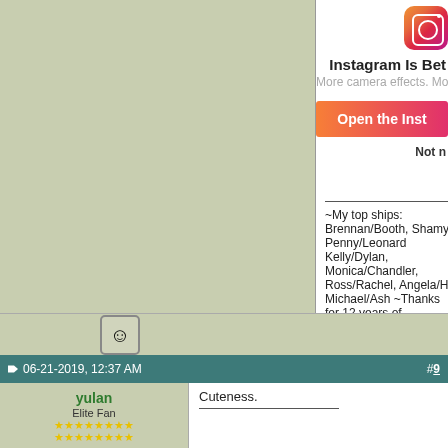[Figure (screenshot): Instagram app ad panel with logo, title 'Instagram Is Bet', subtitle 'More camera effects. More stickers. Mor', orange-to-pink gradient button 'Open the Inst', and 'Not n' text]
~My top ships: Brennan/Booth, Shamy, Penny/Leonard, Kelly/Dylan, Monica/Chandler, Ross/Rachel, Angela/Ho, Michael/Ash ~Thanks for 12 years of TBBT!~Aspie~ bi
[Figure (other): Emoji/smiley face icon in a box]
06-21-2019, 12:37 AM
#9
yulan
Elite Fan
[Figure (photo): Avatar image showing BRENDA text on blue background with person's head visible at bottom]
Cuteness.
Brenda stands alone. Because she can.
Icon by oth. fan